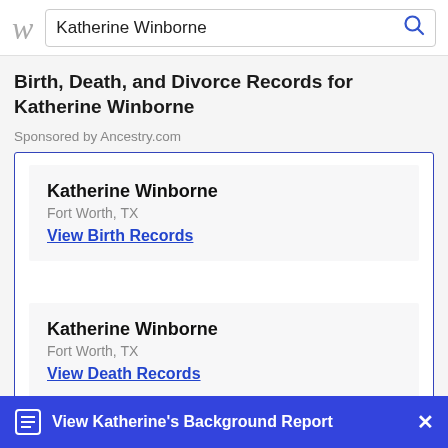Katherine Winborne
Birth, Death, and Divorce Records for Katherine Winborne
Sponsored by Ancestry.com
Katherine Winborne
Fort Worth, TX
View Birth Records
Katherine Winborne
Fort Worth, TX
View Death Records
View Katherine's Background Report